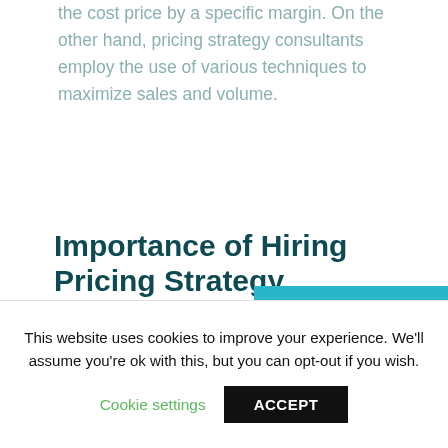the cost price by a specific margin. On the other hand, pricing strategy consultants employ the use of various techniques to maximize sales and volume.
Importance of Hiring Pricing Strategy Consultants?
Over the years, the pricing strategy of a company consisted of adding a margin to the cost price of any commodities or services. Yet, in recent times, the significant surge in the level of competition
This website uses cookies to improve your experience. We'll assume you're ok with this, but you can opt-out if you wish.
Cookie settings   ACCEPT